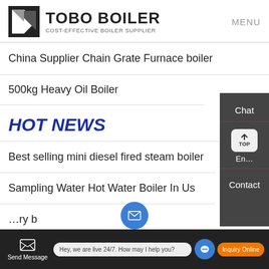TOBO BOILER — COST-EFFECTIVE BOILER SUPPLIER | MENU
China Supplier Chain Grate Furnace boiler
500kg Heavy Oil Boiler
HOT NEWS
Best selling mini diesel fired steam boiler
Sampling Water Hot Water Boiler In Us
Send Message  |  Hey, we are live 24/7. How may I help you?  |  Inquiry Online